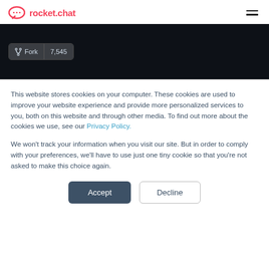rocket.chat
[Figure (screenshot): Dark GitHub-style area showing a Fork button with count 7,545]
This website stores cookies on your computer. These cookies are used to improve your website experience and provide more personalized services to you, both on this website and through other media. To find out more about the cookies we use, see our Privacy Policy.
We won't track your information when you visit our site. But in order to comply with your preferences, we'll have to use just one tiny cookie so that you're not asked to make this choice again.
Accept | Decline